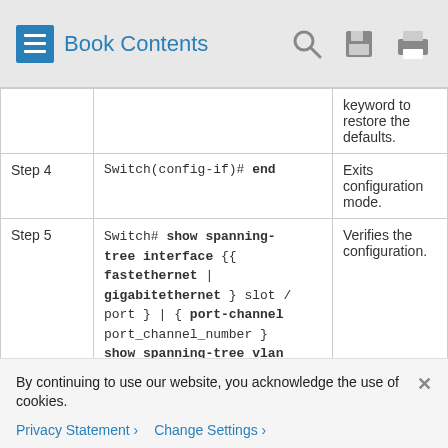Book Contents
|  | Command | Purpose |
| --- | --- | --- |
|  |  | keyword to restore the defaults. |
| Step 4 | Switch(config-if)# end | Exits configuration mode. |
| Step 5 | Switch# show spanning-tree interface {{ fastethernet | gigabitethernet } slot / port } | { port-channel port_channel_number } show spanning-tree vlan vlan ID | Verifies the configuration. |
By continuing to use our website, you acknowledge the use of cookies.
Privacy Statement > Change Settings >